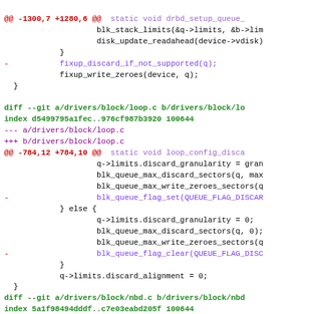diff --git a/drivers/block/loop.c b/drivers/block/loop.c (code diff showing loop.c and nbd.c changes)